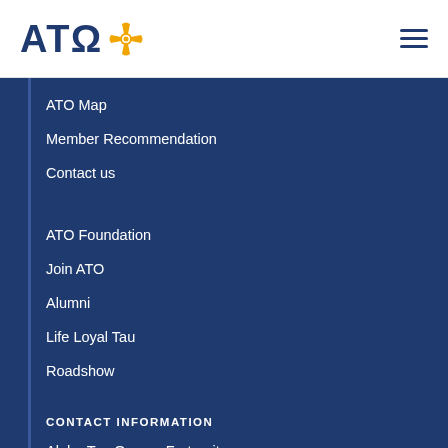[Figure (logo): Alpha Tau Omega (ATO) logo with Greek letters A, T, Omega and orange cross/maltese cross icon]
ATO Map
Member Recommendation
Contact us
ATO Foundation
Join ATO
Alumni
Life Loyal Tau
Roadshow
CONTACT INFORMATION
Alpha Tau Omega Fraternity
333 North Alabama Street
Suite 220
Indianapolis, IN 46204